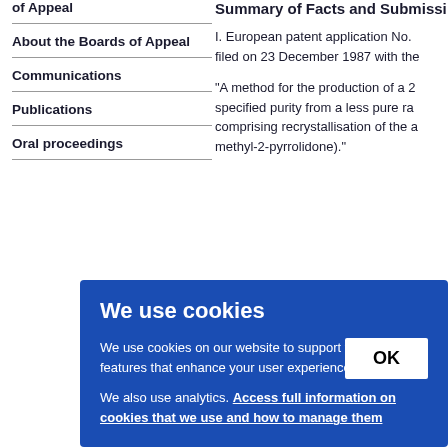of Appeal
About the Boards of Appeal
Communications
Publications
Oral proceedings
Summary of Facts and Submissions
I. European patent application No. filed on 23 December 1987 with the
"A method for the production of a 2 specified purity from a less pure ra comprising recrystallisation of the a methyl-2-pyrrolidone)."
e 199 - ma ult fr
berg,
[Figure (screenshot): Cookie consent banner overlay with blue background. Title 'We use cookies'. Body text: 'We use cookies on our website to support technical features that enhance your user experience. We also use analytics. Access full information on cookies that we use and how to manage them'. OK button on the right.]